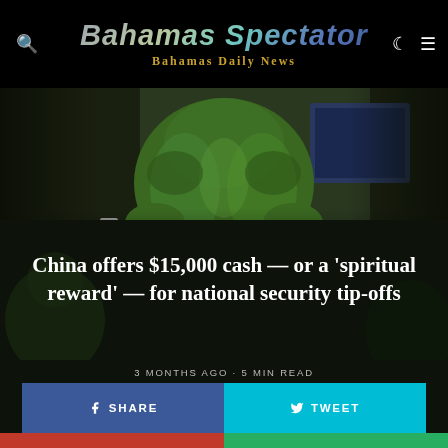Bahamas Spectator — Bahamas Daily News
[Figure (photo): Person wearing a green jacket/hoodie seated at a desk or table, viewed from behind/side, with dark blurred background.]
China offers $15,000 cash — or a 'spiritual reward' — for national security tip-offs
3 MONTHS AGO · 5 MIN READ
SHARE
TWEET